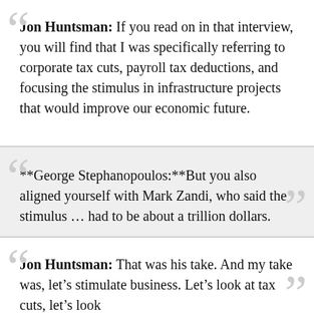Jon Huntsman: If you read on in that interview, you will find that I was specifically referring to corporate tax cuts, payroll tax deductions, and focusing the stimulus in infrastructure projects that would improve our economic future.
**George Stephanopoulos:**But you also aligned yourself with Mark Zandi, who said the stimulus … had to be about a trillion dollars.
Jon Huntsman: That was his take. And my take was, let's stimulate business. Let's look at tax cuts, let's look